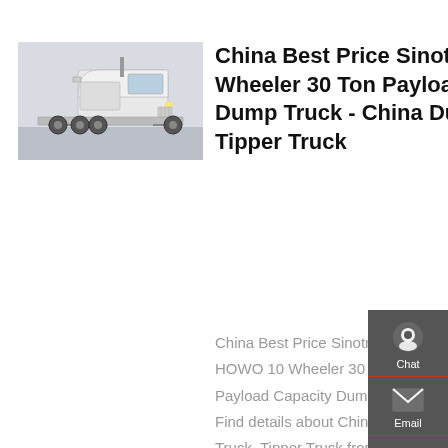[Figure (photo): White Sinotruk HOWO tractor truck photographed outdoors on a paved surface]
China Best Price Sinotruk HOWO 10 Wheeler 30 Ton Payload Capacity Dump Truck - China Dump Truck, Tipper Truck
China Best Price Sinotruk HOWO 10 Wheeler 30 Ton Payload Capacity Dump Truck, Find details about China Dump Truck, Tipper Truck from Best Price Sinotruk HOWO 10 Wheeler 30 Ton Payload Capacity Dump Truck